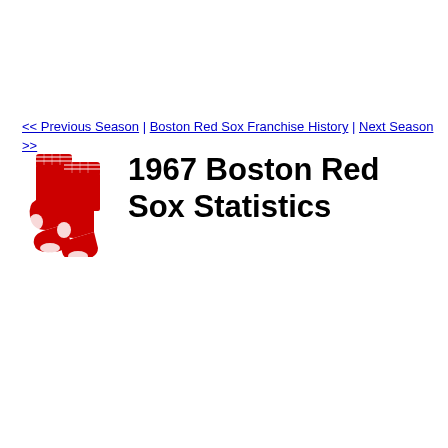<< Previous Season | Boston Red Sox Franchise History | Next Season >>
[Figure (logo): Boston Red Sox logo — two red socks]
1967 Boston Red Sox Statistics